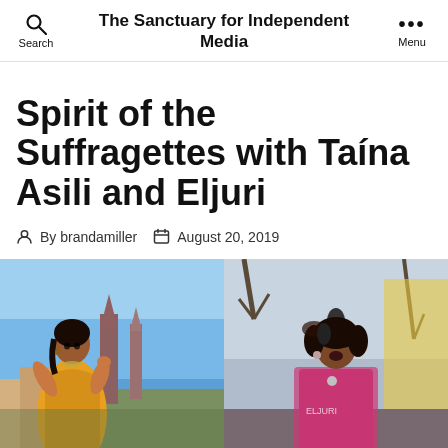The Sanctuary for Independent Media
Spirit of the Suffragettes with Taína Asili and Eljuri
By brandamiller   August 20, 2019
[Figure (photo): Two side-by-side photos: left shows a woman in a golden/yellow dress posing outdoors with a church steeple and blue sky behind her; right shows a woman singing into a microphone at an outdoor event, wearing a pink/magenta top.]